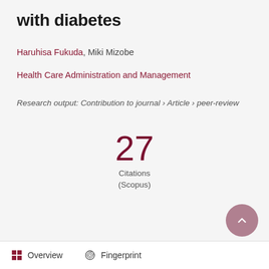with diabetes
Haruhisa Fukuda, Miki Mizobe
Health Care Administration and Management
Research output: Contribution to journal › Article › peer-review
27
Citations
(Scopus)
Overview   Fingerprint